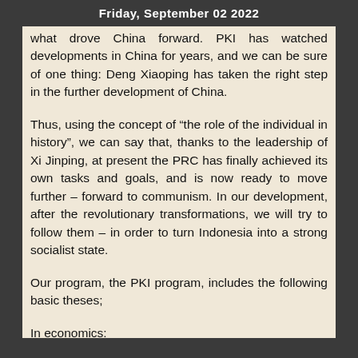Friday, September 02 2022
what drove China forward. PKI has watched developments in China for years, and we can be sure of one thing: Deng Xiaoping has taken the right step in the further development of China.
Thus, using the concept of “the role of the individual in history”, we can say that, thanks to the leadership of Xi Jinping, at present the PRC has finally achieved its own tasks and goals, and is now ready to move further – forward to communism. In our development, after the revolutionary transformations, we will try to follow them – in order to turn Indonesia into a strong socialist state.
Our program, the PKI program, includes the following basic theses;
In economics: